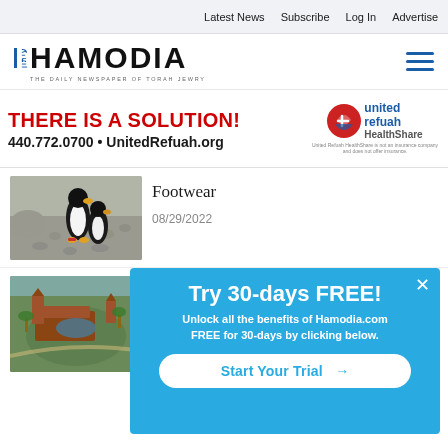Latest News   Subscribe   Log In   Advertise
[Figure (logo): Hamodia newspaper logo - THE DAILY NEWSPAPER OF TORAH JEWRY]
[Figure (infographic): Advertisement: THERE IS A SOLUTION! 440.772.0700 • UnitedRefuah.org with United Refuah HealthShare logo]
[Figure (photo): Photo of penguins on rocky ground]
Footwear
08/29/2022
[Figure (photo): Aerial photo of a large estate or resort]
[Figure (infographic): Popup: Try 30-days FREE! Unlock all the benefits of Hamodia.com FREE for 30-days by clicking below. Start Your Trial →]